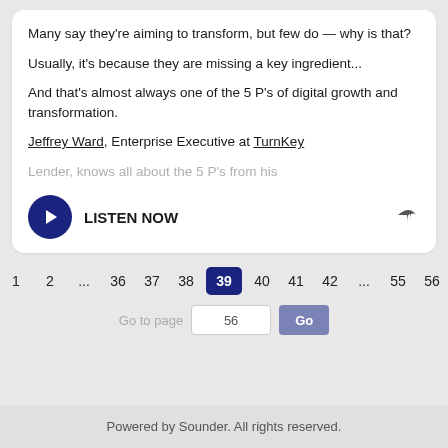Many say they're aiming to transform, but few do — why is that?
Usually, it's because they are missing a key ingredient...
And that's almost always one of the 5 P's of digital growth and transformation.
Jeffrey Ward, Enterprise Executive at TurnKey Lender, knows all about the 5 P's from his
[Figure (other): LISTEN NOW button with dark blue play circle icon and share arrow icon]
< 1 2 ... 36 37 38 39 40 41 42 ... 55 56 >
Go to page  56  Go
Powered by Sounder. All rights reserved.